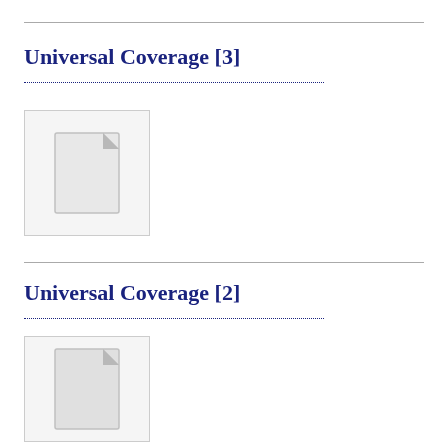Universal Coverage [3]
[Figure (illustration): Document file icon placeholder — gray document with folded corner on light gray background]
Universal Coverage [2]
[Figure (illustration): Document file icon placeholder — gray document with folded corner on light gray background]